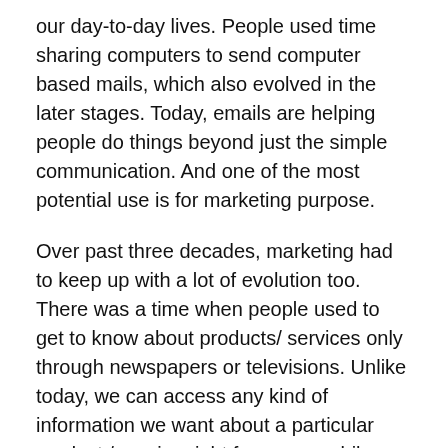our day-to-day lives. People used time sharing computers to send computer based mails, which also evolved in the later stages. Today, emails are helping people do things beyond just the simple communication. And one of the most potential use is for marketing purpose.
Over past three decades, marketing had to keep up with a lot of evolution too. There was a time when people used to get to know about products/ services only through newspapers or televisions. Unlike today, we can access any kind of information we want about a particular product / service right from our mobile screens with just a few taps. Statistics say that the advent of digitization has given birth to robots and 31% of U.S. marketers believe that in next 30 years, most of their job will be done by bots.